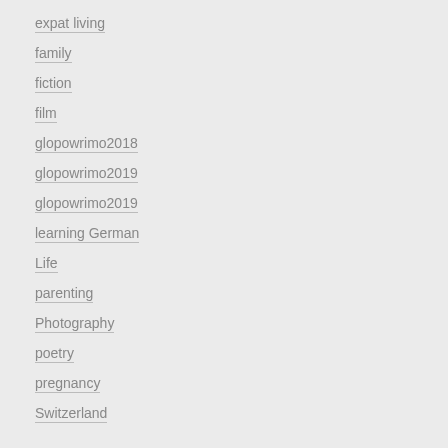expat living
family
fiction
film
glopowrimo2018
glopowrimo2019
glopowrimo2019
learning German
Life
parenting
Photography
poetry
pregnancy
Switzerland